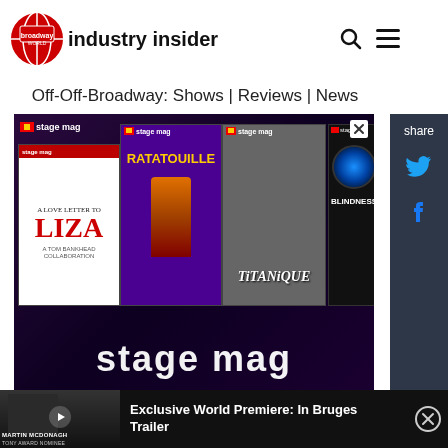[Figure (logo): Broadway World Industry Insider logo with globe graphic]
Off-Off-Broadway: Shows | Reviews | News
[Figure (screenshot): Stage Mag advertisement banner showing theatrical show posters including A Love Letter to Liza, Ratatouille, Titanique, and Blindness]
share
[Figure (screenshot): Video bar showing Exclusive World Premiere: In Bruges Trailer with Martin McDonagh Tony Award Nominee thumbnail]